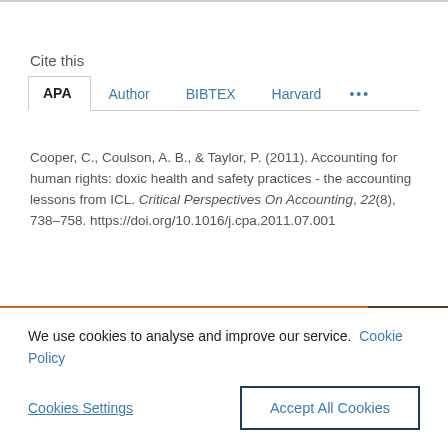Cite this
APA  Author  BIBTEX  Harvard  ...
Cooper, C., Coulson, A. B., & Taylor, P. (2011). Accounting for human rights: doxic health and safety practices - the accounting lessons from ICL. Critical Perspectives On Accounting, 22(8), 738–758. https://doi.org/10.1016/j.cpa.2011.07.001
We use cookies to analyse and improve our service. Cookie Policy
Cookies Settings
Accept All Cookies